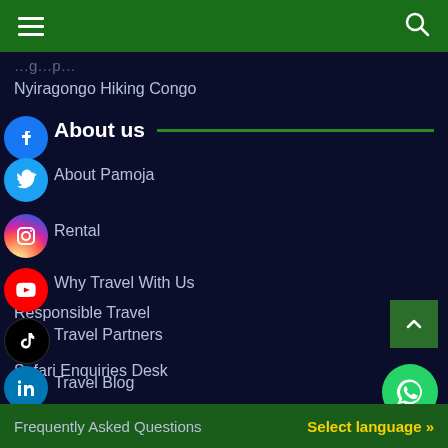Navigation header with hamburger menu and search icon
Nyiragongo Hiking Congo
About us
About Pamoja
Rental
Why Travel With Us
Responsible Travel
Travel Partners
Travel Blog
Customer Reviews
Safari Enquiries Desk
Frequently Asked Questions
Select language »